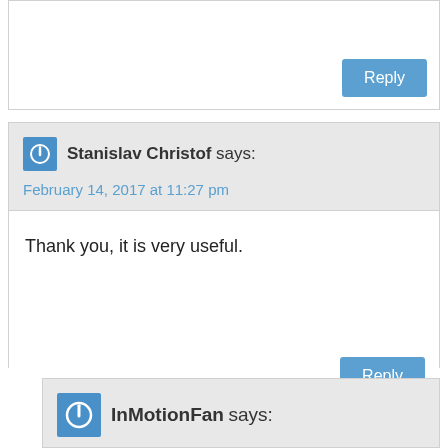[partial comment block at top with Reply button]
Stanislav Christof says:
February 14, 2017 at 11:27 pm
Thank you, it is very useful.
InMotionFan says:
February 14, 2017 at 11:38 pm
Stanislav, we're glad that this information was of assistance to you!